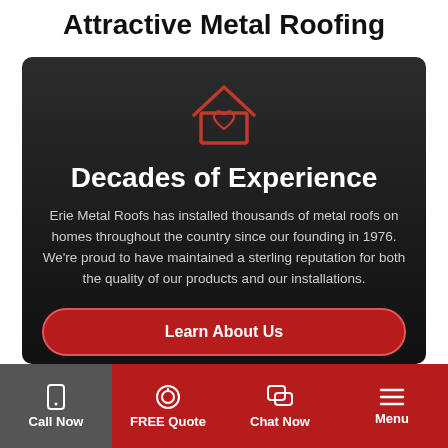Attractive Metal Roofing
[Figure (illustration): Red outlined house icon with a heart inside, on dark background]
Decades of Experience
Erie Metal Roofs has installed thousands of metal roofs on homes throughout the country since our founding in 1976. We're proud to have maintained a sterling reputation for both the quality of our products and our installations.
Learn About Us
Call Now | FREE Quote | Chat Now | Menu